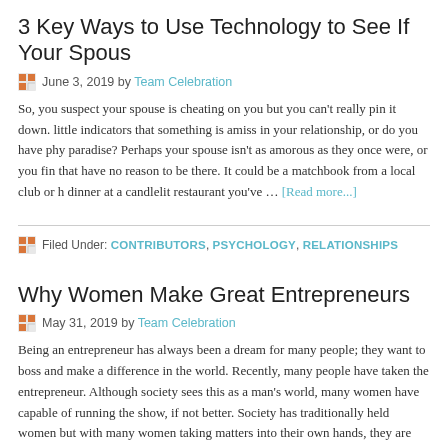3 Key Ways to Use Technology to See If Your Spous
June 3, 2019 by Team Celebration
So, you suspect your spouse is cheating on you but you can't really pin it down. little indicators that something is amiss in your relationship, or do you have phy paradise? Perhaps your spouse isn't as amorous as they once were, or you fin that have no reason to be there. It could be a matchbook from a local club or h dinner at a candlelit restaurant you've … [Read more...]
Filed Under: CONTRIBUTORS, PSYCHOLOGY, RELATIONSHIPS
Why Women Make Great Entrepreneurs
May 31, 2019 by Team Celebration
Being an entrepreneur has always been a dream for many people; they want to boss and make a difference in the world. Recently, many people have taken the entrepreneur. Although society sees this as a man's world, many women have capable of running the show, if not better. Society has traditionally held women but with many women taking matters into their own hands, they are constantly
Filed Under: BUSINESS, CAREERS, PSYCHOLOGY